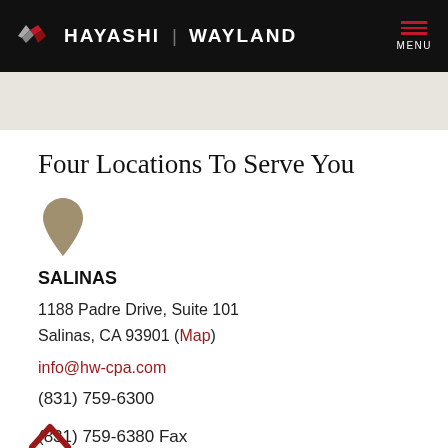HAYASHI | WAYLAND
Four Locations To Serve You
[Figure (illustration): Map pin / location marker icon in tan/khaki color]
SALINAS
1188 Padre Drive, Suite 101
Salinas, CA 93901 (Map)
info@hw-cpa.com
(831) 759-6300
(831) 759-6380 Fax